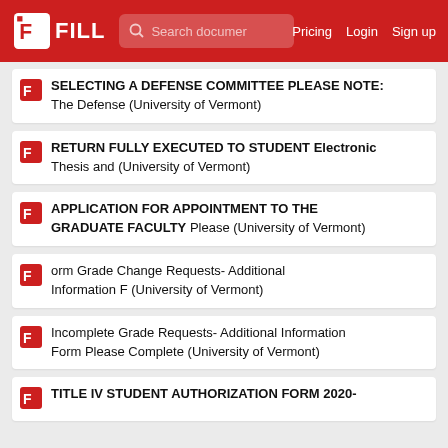FILL — Search documents — Pricing Login Sign up
SELECTING A DEFENSE COMMITTEE PLEASE NOTE: The Defense (University of Vermont)
RETURN FULLY EXECUTED TO STUDENT Electronic Thesis and (University of Vermont)
APPLICATION FOR APPOINTMENT TO THE GRADUATE FACULTY Please (University of Vermont)
orm Grade Change Requests- Additional Information F (University of Vermont)
Incomplete Grade Requests- Additional Information Form Please Complete (University of Vermont)
TITLE IV STUDENT AUTHORIZATION FORM 2020-